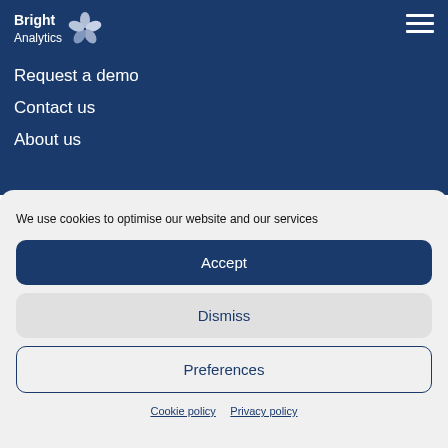[Figure (logo): Bright Analytics logo with flower/petals icon in white on dark blue background]
Request a demo
Contact us
About us
We use cookies to optimise our website and our services
Accept
Dismiss
Preferences
Cookie policy   Privacy policy